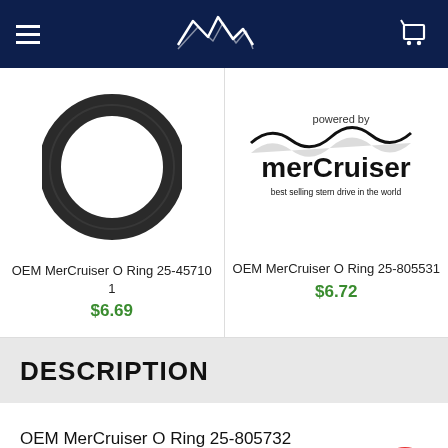Navigation header with logo and cart
[Figure (photo): OEM MerCruiser O Ring product photo - black rubber o-ring on white background]
OEM MerCruiser O Ring 25-45710 1
$6.69
[Figure (logo): MerCruiser logo - powered by merCruiser, best selling stern drive in the world]
OEM MerCruiser O Ring 25-805531
$6.72
DESCRIPTION
OEM MerCruiser O Ring 25-805732